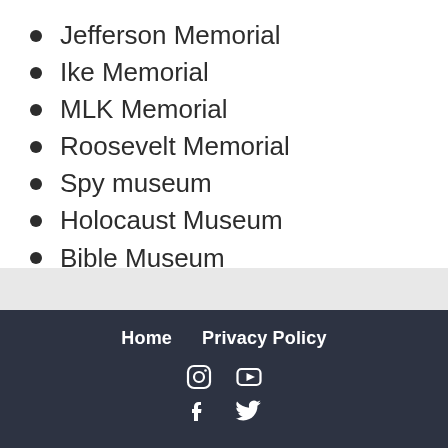Jefferson Memorial
Ike Memorial
MLK Memorial
Roosevelt Memorial
Spy museum
Holocaust Museum
Bible Museum
Home  Privacy Policy